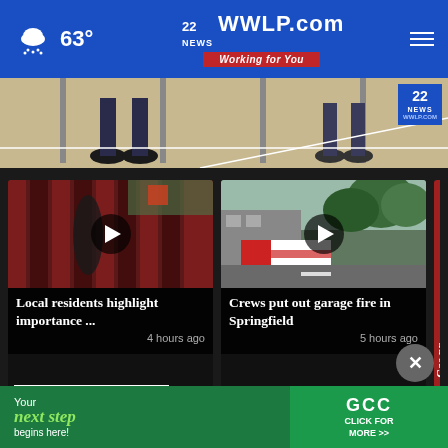63° | 22WWLP.com NEWS Working for You
[Figure (screenshot): Hero image showing feet/legs at a table, with 22 NEWS WWLP.COM badge in corner]
[Figure (screenshot): Video thumbnail: voting booth curtains with play button overlay]
Local residents highlight importance ...
4 hours ago
[Figure (screenshot): Video thumbnail: garage fire scene with ambulance and trees, play button overlay]
Crews put out garage fire in Springfield
5 hours ago
Gas pr declin
More Videos ›
[Figure (advertisement): GCC ad: Your next step begins here! Click for more >>]